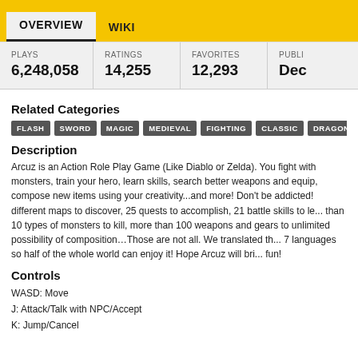OVERVIEW   WIKI
| PLAYS | RATINGS | FAVORITES | PUBLI... |
| --- | --- | --- | --- |
| 6,248,058 | 14,255 | 12,293 | Dec ... |
Related Categories
FLASH  SWORD  MAGIC  MEDIEVAL  FIGHTING  CLASSIC  DRAGON  RPG...
Description
Arcuz is an Action Role Play Game (Like Diablo or Zelda). You fight with monsters, train your hero, learn skills, search better weapons and equip, compose new items using your creativity...and more! Don't be addicted! different maps to discover, 25 quests to accomplish, 21 battle skills to le... than 10 types of monsters to kill, more than 100 weapons and gears to unlimited possibility of composition...Those are not all. We translated th... 7 languages so half of the whole world can enjoy it! Hope Arcuz will bri... fun!
Controls
WASD: Move
J: Attack/Talk with NPC/Accept
K: Jump/Cancel